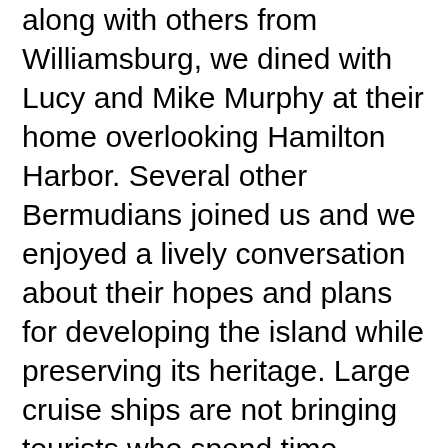along with others from Williamsburg, we dined with Lucy and Mike Murphy at their home overlooking Hamilton Harbor. Several other Bermudians joined us and we enjoyed a lively conversation about their hopes and plans for developing the island while preserving its heritage. Large cruise ships are not bringing tourists who spend time getting to know Bermuda and its people. In contrast, we were in conversation with people who shared stories of their island lives. One such person is Winny, who led us on a memorable ride through the back roads of Somerset, where she grew up swimming around the docks and playing in the caverns of old British Fort Scaur. On every street